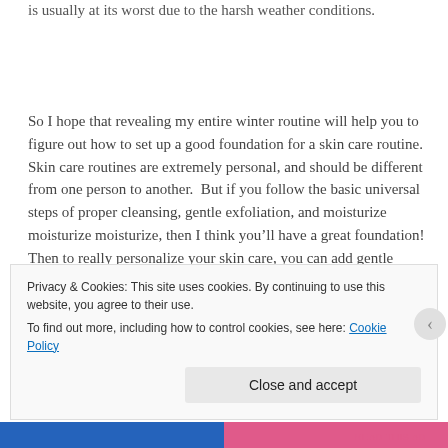is usually at its worst due to the harsh weather conditions.
So I hope that revealing my entire winter routine will help you to figure out how to set up a good foundation for a skin care routine.  Skin care routines are extremely personal, and should be different from one person to another.  But if you follow the basic universal steps of proper cleansing, gentle exfoliation, and moisturize moisturize moisturize, then I think you’ll have a great foundation!  Then to really personalize your skin care, you can add gentle targeted
Privacy & Cookies: This site uses cookies. By continuing to use this website, you agree to their use.
To find out more, including how to control cookies, see here: Cookie Policy
Close and accept